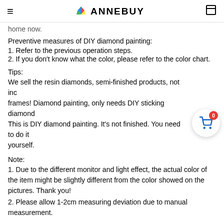ANNEBUY
home now.
Preventive measures of DIY diamond painting:
1. Refer to the previous operation steps.
2. If you don't know what the color, please refer to the color chart.
Tips:
We sell the resin diamonds, semi-finished products, not inc... frames! Diamond painting, only needs DIY sticking diamond... This is DIY diamond painting. It's not finished. You need to do it yourself.
Note:
1. Due to the different monitor and light effect, the actual color of the item might be slightly different from the color showed on the pictures. Thank you!
2. Please allow 1-2cm measuring deviation due to manual measurement.